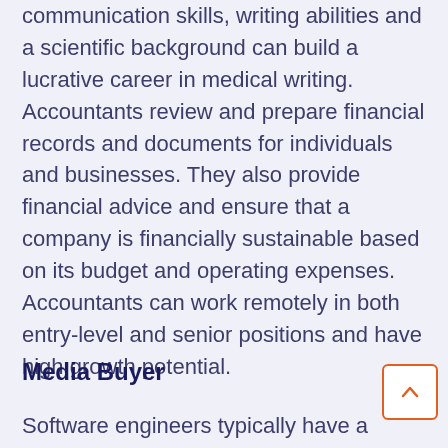communication skills, writing abilities and a scientific background can build a lucrative career in medical writing. Accountants review and prepare financial records and documents for individuals and businesses. They also provide financial advice and ensure that a company is financially sustainable based on its budget and operating expenses. Accountants can work remotely in both entry-level and senior positions and have high growth potential.
Media Buyer
Software engineers typically have a